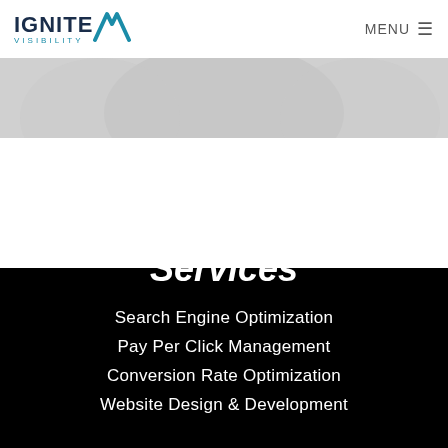IGNITE VISIBILITY | MENU
[Figure (photo): Partial greyed-out background photo strip below the navigation bar]
[Figure (illustration): Black wave shape transitioning from white background to black section]
Services
Search Engine Optimization
Pay Per Click Management
Conversion Rate Optimization
Website Design & Development